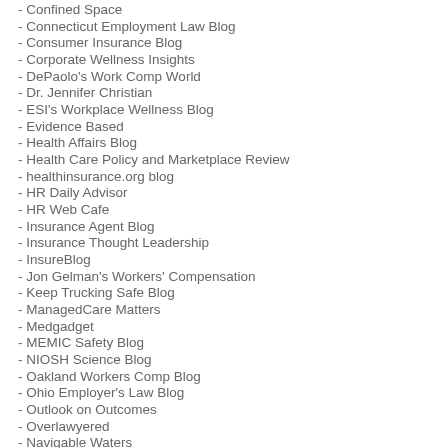- Confined Space
- Connecticut Employment Law Blog
- Consumer Insurance Blog
- Corporate Wellness Insights
- DePaolo's Work Comp World
- Dr. Jennifer Christian
- ESI's Workplace Wellness Blog
- Evidence Based
- Health Affairs Blog
- Health Care Policy and Marketplace Review
- healthinsurance.org blog
- HR Daily Advisor
- HR Web Cafe
- Insurance Agent Blog
- Insurance Thought Leadership
- InsureBlog
- Jon Gelman's Workers' Compensation
- Keep Trucking Safe Blog
- ManagedCare Matters
- Medgadget
- MEMIC Safety Blog
- NIOSH Science Blog
- Oakland Workers Comp Blog
- Ohio Employer's Law Blog
- Outlook on Outcomes
- Overlawyered
- Navigable Waters
- Risk Management Monitor
- Safety Daily Advisor
- Safety News Alert
- Specialty Insurance Blog
- Terms + Conditions
- TexasMutual Blog
- The Pump Handle
- The Safety Blog
- Thoughts from a Management Lawyer
- Today's Workplace
- WCI News
- WCRI Blog
- Well Blog